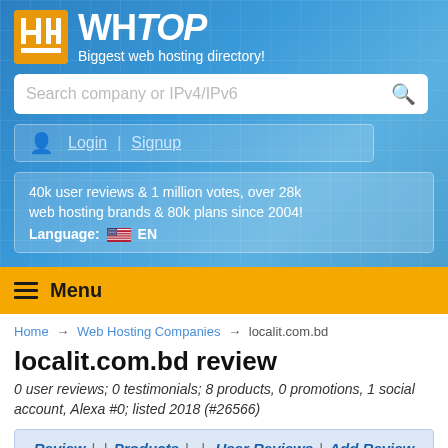WH TOP - Biggest web hosting directory!
Search company or IPv4/IPv6
Login | Signup
40k user reviews & 1 million votes, over 28k web hosting brands & 80k plans since 2004! Language: EN
Menu
Home → Web Hosting Companies → localit.com.bd
localit.com.bd review
0 user reviews; 0 testimonials; 8 products, 0 promotions, 1 social account, Alexa #0; listed 2018 (#26566)
Review | | Products | | User Reviews | Add Review